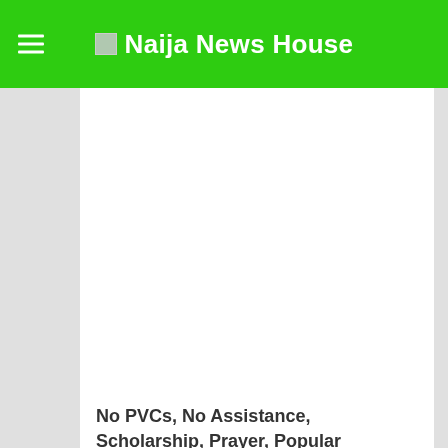Naija News House
[Figure (illustration): Blank white image placeholder area for article photo]
No PVCs, No Assistance, Scholarship, Prayer, Popular Nigerian Pastor Tells Members